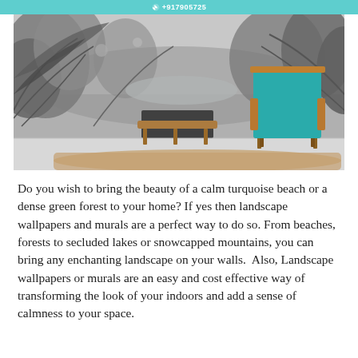+917905725
[Figure (photo): Interior room photo showing a tropical/jungle black and white mural wallpaper on the wall, with a wooden coffee table in the center and a teal/turquoise velvet armchair with wooden frame on the right, and a woven rug on the floor.]
Do you wish to bring the beauty of a calm turquoise beach or a dense green forest to your home? If yes then landscape wallpapers and murals are a perfect way to do so. From beaches, forests to secluded lakes or snowcapped mountains, you can bring any enchanting landscape on your walls.  Also, Landscape wallpapers or murals are an easy and cost effective way of transforming the look of your indoors and add a sense of calmness to your space.